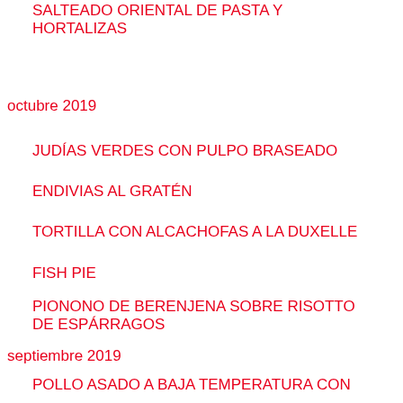SALTEADO ORIENTAL DE PASTA Y HORTALIZAS
octubre 2019
JUDÍAS VERDES CON PULPO BRASEADO
ENDIVIAS AL GRATÉN
TORTILLA CON ALCACHOFAS A LA DUXELLE
FISH PIE
PIONONO DE BERENJENA SOBRE RISOTTO DE ESPÁRRAGOS
septiembre 2019
POLLO ASADO A BAJA TEMPERATURA CON SALSA DE PIMENTÓN AHUMADO DE LA VERA
SALMORRETA ALICANTINA